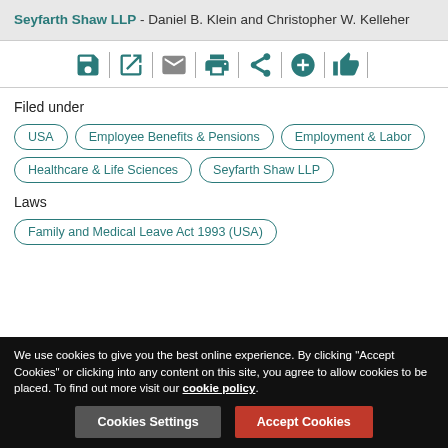Seyfarth Shaw LLP - Daniel B. Klein and Christopher W. Kelleher
[Figure (infographic): Toolbar with icons: save, open/external link, email (grey), print, share, add (plus), thumbs up, separated by vertical dividers]
Filed under
USA
Employee Benefits & Pensions
Employment & Labor
Healthcare & Life Sciences
Seyfarth Shaw LLP
Laws
Family and Medical Leave Act 1993 (USA)
We use cookies to give you the best online experience. By clicking "Accept Cookies" or clicking into any content on this site, you agree to allow cookies to be placed. To find out more visit our cookie policy.